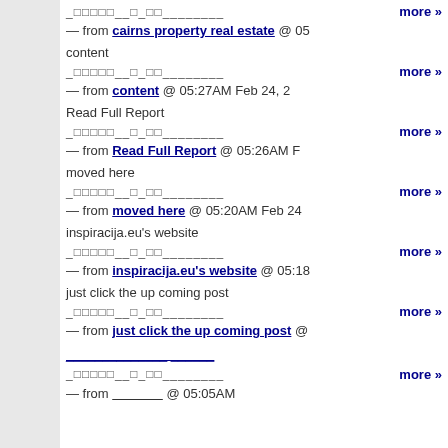— from cairns property real estate @ 05... more »
content
— from content @ 05:27AM Feb 24, 2...  more »
Read Full Report
— from Read Full Report @ 05:26AM F...  more »
moved here
— from moved here @ 05:20AM Feb 24...  more »
inspiracija.eu's website
— from inspiracija.eu's website @ 05:18...  more »
just click the up coming post
— from just click the up coming post @...  more »
— from __________ @ 05:05AM  more »